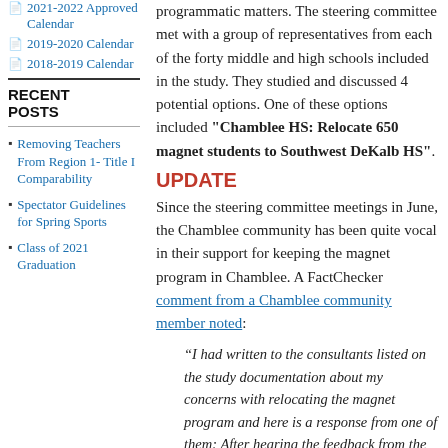2021-2022 Approved Calendar
2019-2020 Calendar
2018-2019 Calendar
RECENT POSTS
Removing Teachers From Region 1- Title I Comparability
Spectator Guidelines for Spring Sports
Class of 2021 Graduation
programmatic matters. The steering committee met with a group of representatives from each of the forty middle and high schools included in the study. They studied and discussed 4 potential options. One of these options included "Chamblee HS: Relocate 650 magnet students to Southwest DeKalb HS".
UPDATE
Since the steering committee meetings in June, the Chamblee community has been quite vocal in their support for keeping the magnet program in Chamblee. A FactChecker comment from a Chamblee community member noted:
“I had written to the consultants listed on the study documentation about my concerns with relocating the magnet program and here is a response from one of them: After hearing the feedback from the